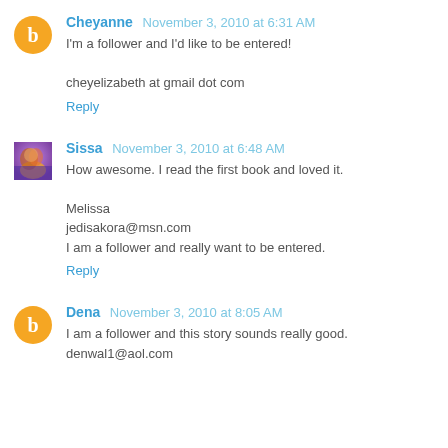Cheyanne  November 3, 2010 at 6:31 AM
I'm a follower and I'd like to be entered!
cheyelizabeth at gmail dot com
Reply
Sissa  November 3, 2010 at 6:48 AM
How awesome. I read the first book and loved it.
Melissa
jedisakora@msn.com
I am a follower and really want to be entered.
Reply
Dena  November 3, 2010 at 8:05 AM
I am a follower and this story sounds really good.
denwal1@aol.com